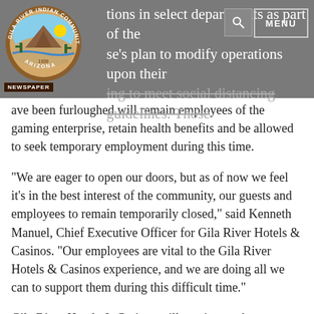tions in select departments as part of the se's plan to modify operations upon their ing to meet social distancing guidelines. Those
[Figure (logo): Gila River Indian Community Arizona circular seal/logo with desert landscape]
NEWSPAPER
ave been furloughed will remain employees of the gaming enterprise, retain health benefits and be allowed to seek temporary employment during this time.
"We are eager to open our doors, but as of now we feel it's in the best interest of the community, our guests and employees to remain temporarily closed," said Kenneth Manuel, Chief Executive Officer for Gila River Hotels & Casinos. "Our employees are vital to the Gila River Hotels & Casinos experience, and we are doing all we can to support them during this difficult time."
Gila River Hotels & Casinos will continue to keep guests updated regarding the reopening of all three